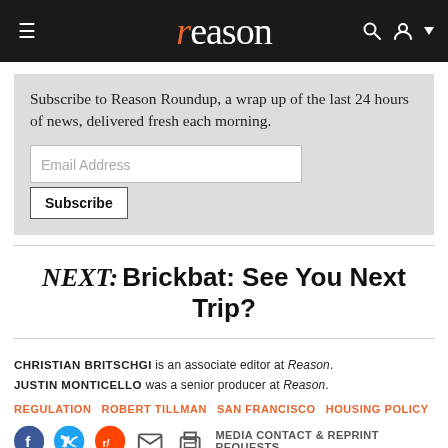reason
Subscribe to Reason Roundup, a wrap up of the last 24 hours of news, delivered fresh each morning.
NEXT: Brickbat: See You Next Trip?
CHRISTIAN BRITSCHGI is an associate editor at Reason. JUSTIN MONTICELLO was a senior producer at Reason.
REGULATION   ROBERT TILLMAN   SAN FRANCISCO   HOUSING POLICY
MEDIA CONTACT & REPRINT REQUESTS